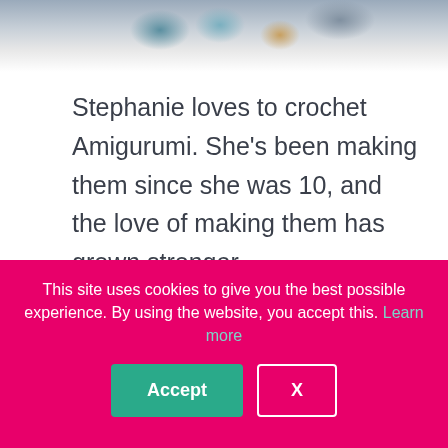[Figure (photo): Top portion of a photo showing yarn balls and crochet supplies on a white fluffy surface, cropped at the top of the page]
Stephanie loves to crochet Amigurumi. She's been making them since she was 10, and the love of making them has grown stronger.
[Figure (illustration): Small crochet/yarn icon illustration partially visible above the cookie banner]
This site uses cookies to give you the best possible experience. By using the website, you accept this. Learn more